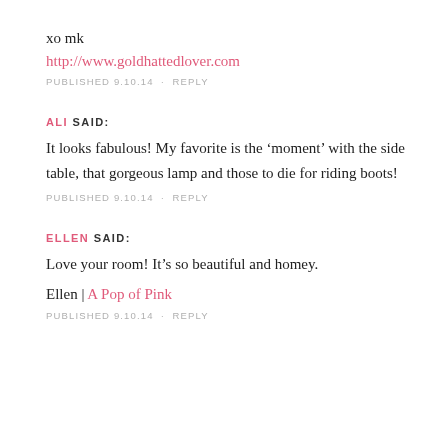xo mk
http://www.goldhattedlover.com
PUBLISHED 9.10.14 · REPLY
ALI SAID:
It looks fabulous! My favorite is the 'moment' with the side table, that gorgeous lamp and those to die for riding boots!
PUBLISHED 9.10.14 · REPLY
ELLEN SAID:
Love your room! It's so beautiful and homey.
Ellen | A Pop of Pink
PUBLISHED 9.10.14 · REPLY